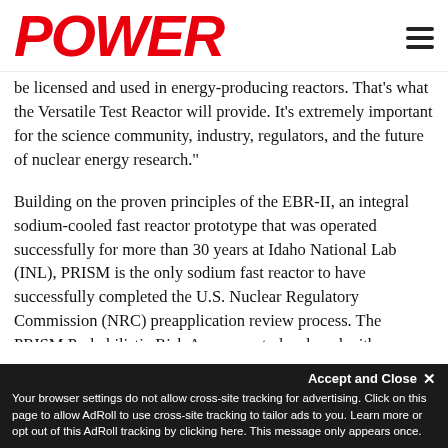POWER
be licensed and used in energy-producing reactors. That's what the Versatile Test Reactor will provide. It's extremely important for the science community, industry, regulators, and the future of nuclear energy research."
Building on the proven principles of the EBR-II, an integral sodium-cooled fast reactor prototype that was operated successfully for more than 30 years at Idaho National Lab (INL), PRISM is the only sodium fast reactor to have successfully completed the U.S. Nuclear Regulatory Commission (NRC) preapplication review process. The PRISM Probabilistic Risk Assessment, developed with Argonne National Laboratory (ANL) in 2016, provided a validation of the advanced reactor's safety.
Your browser settings do not allow cross-site tracking for advertising. Click on this page to allow AdRoll to use cross-site tracking to tailor ads to you. Learn more or opt out of this AdRoll tracking by clicking here. This message only appears once.